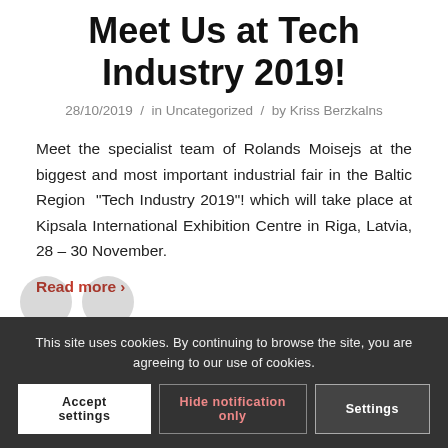Meet Us at Tech Industry 2019!
28/10/2019  /  in Uncategorized  /  by Kriss Berzkalns
Meet the specialist team of Rolands Moisejs at the biggest and most important industrial fair in the Baltic Region  “Tech Industry 2019”! which will take place at Kipsala International Exhibition Centre in Riga, Latvia, 28 – 30 November.
Read more >
This site uses cookies. By continuing to browse the site, you are agreeing to our use of cookies.
Accept settings   Hide notification only   Settings